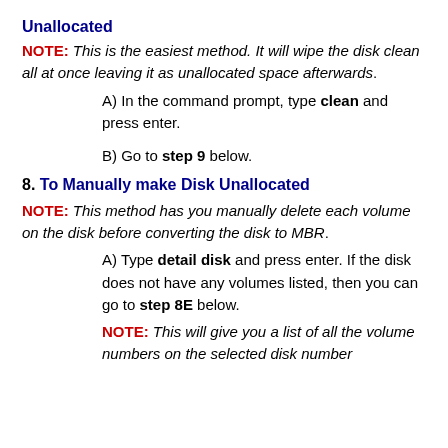Unallocated
NOTE: This is the easiest method. It will wipe the disk clean all at once leaving it as unallocated space afterwards.
A) In the command prompt, type clean and press enter.
B) Go to step 9 below.
8. To Manually make Disk Unallocated
NOTE: This method has you manually delete each volume on the disk before converting the disk to MBR.
A) Type detail disk and press enter. If the disk does not have any volumes listed, then you can go to step 8E below.
NOTE: This will give you a list of all the volume numbers on the selected disk number